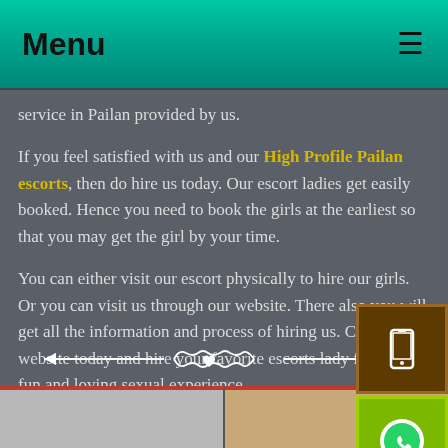Menu
service in Pailan provided by us.
If you feel satisfied with us and our High Profile Pailan escorts, then do hire us today. Our escort ladies get easily booked. Hence you need to book the girls at the earliest so that you may get the girl by your time.
You can either visit our escort physically to hire our girls. Or you can visit us through our website. There also you will get all the information and process of hiring us. Check our website today and hire your favorite escorts lady for your fun and loving sexual experience.
[Figure (illustration): Decorative ornamental divider with scrollwork and heart motif in white]
[Figure (photo): Two photo thumbnails at the bottom of the page showing escort images]